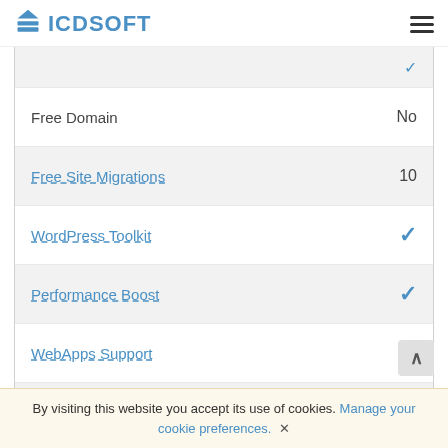ICDSOFT
| Feature | Value |
| --- | --- |
| Free Domain | No |
| Free Site Migrations | 10 |
| WordPress Toolkit | ✓ |
| Performance Boost | ✓ |
| WebApps Support | ✓ |
| App Installer | ✓ |
| Multiple PHPs | ✓ |
| Redis, Memcached | ✓ |
Compare Plans
By visiting this website you accept its use of cookies. Manage your cookie preferences. ×